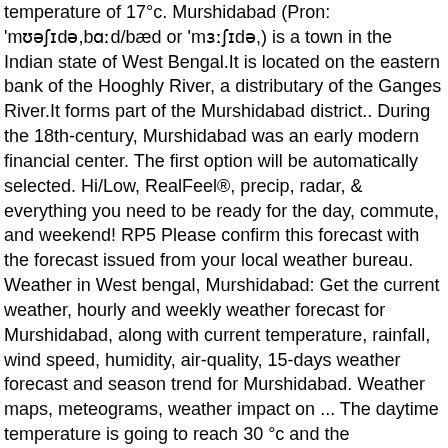temperature of 17°c. Murshidabad (Pron: 'mʊəʃɪdə,bɑːd/bæd or 'mɜːʃɪdə,) is a town in the Indian state of West Bengal.It is located on the eastern bank of the Hooghly River, a distributary of the Ganges River.It forms part of the Murshidabad district.. During the 18th-century, Murshidabad was an early modern financial center. The first option will be automatically selected. Hi/Low, RealFeel®, precip, radar, & everything you need to be ready for the day, commute, and weekend! RP5 Please confirm this forecast with the forecast issued from your local weather bureau. Weather in West bengal, Murshidabad: Get the current weather, hourly and weekly weather forecast for Murshidabad, along with current temperature, rainfall, wind speed, humidity, air-quality, 15-days weather forecast and season trend for Murshidabad. Weather maps, meteograms, weather impact on ... The daytime temperature is going to reach 30 °c and the temperature is going to dip to 16 °c at night. Check the weather, rainfall radar, satellite images, wind, weather index and weather widgets for Murshidabad Winter is the peak season for tourists travelling to Murshidabad. in graphical mode for next 14 days. Weather Murshidabad - Weather forecast: - for today, - for tomorrow, - for a week, - for a month. Today: Tomorrow: 16 25° 17 23° 18 21° 19 20° 20 20° 21 19° 22 19° 23 18° 00 17° 01 17° 02 17° 03 16° 04 16° 05 15° 06 16° Printed 30 November 2020 10:49. eltiempo.es . Hi/Low, RealFeel®, precip, radar, & everything you need to be ready for the day, commute, and weekend! for Murshidabad, West Bengal.Weather widgets. See the link...